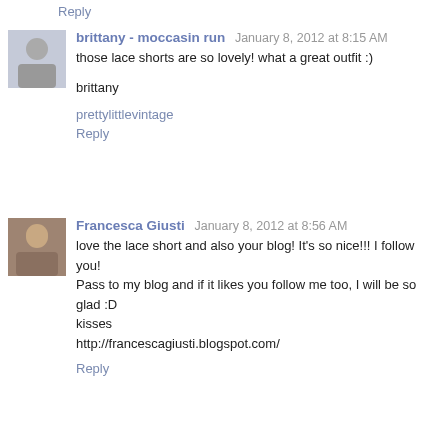Reply
brittany - moccasin run  January 8, 2012 at 8:15 AM
those lace shorts are so lovely! what a great outfit :)

brittany

prettylittlevintage
Reply
Francesca Giusti  January 8, 2012 at 8:56 AM
love the lace short and also your blog! It's so nice!!! I follow you!
Pass to my blog and if it likes you follow me too, I will be so glad :D
kisses
http://francescagiusti.blogspot.com/
Reply